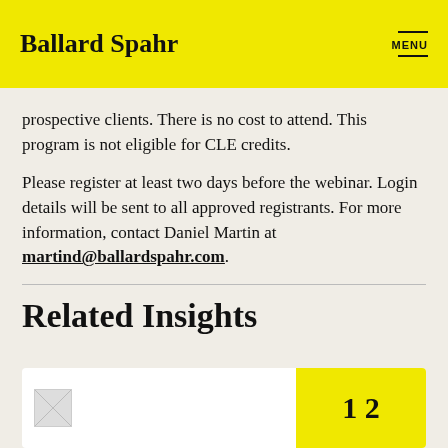Ballard Spahr
prospective clients. There is no cost to attend. This program is not eligible for CLE credits.
Please register at least two days before the webinar. Login details will be sent to all approved registrants. For more information, contact Daniel Martin at martind@ballardspahr.com.
Related Insights
[Figure (other): Card with image placeholder on left and yellow panel on right with partial text visible]